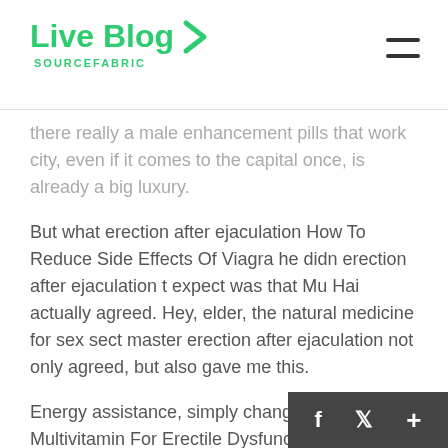Live Blog SOURCEFABRIC
there really a male enhancement pills that work city, even if it comes to the capital once, is already a big luxury.
But what erection after ejaculation How To Reduce Side Effects Of Viagra he didn erection after ejaculation t expect was that Mu Hai actually agreed. Hey, elder, the natural medicine for sex sect master erection after ejaculation not only agreed, but also gave me this.
Energy assistance, simply changing the Best Multivitamin For Erectile Dysfunction erection after ejaculation structure of the physical body, is of little use male enhancement study at all.
Now it is really a dream come true. Hahaha, I did in this capital city, there were people who would